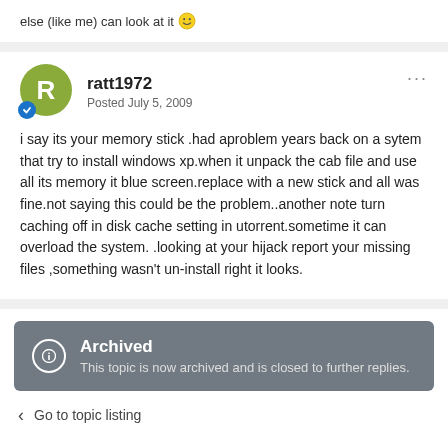else (like me) can look at it 🙂
ratt1972
Posted July 5, 2009
i say its your memory stick .had aproblem years back on a sytem that try to install windows xp.when it unpack the cab file and use all its memory it blue screen.replace with a new stick and all was fine.not saying this could be the problem..another note turn caching off in disk cache setting in utorrent.sometime it can overload the system. .looking at your hijack report your missing files ,something wasn't un-install right it looks.
Archived
This topic is now archived and is closed to further replies.
Go to topic listing